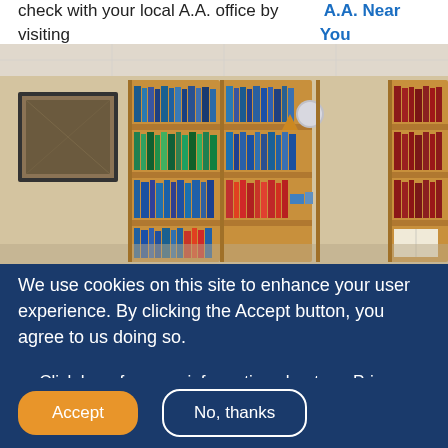check with your local A.A. office by visiting A.A. Near You
[Figure (photo): Interior photo of a room with large wooden bookshelves filled with books and a framed picture on the wall to the left.]
We use cookies on this site to enhance your user experience. By clicking the Accept button, you agree to us doing so.
Click here for more information about our Privacy Policy.
Accept
No, thanks